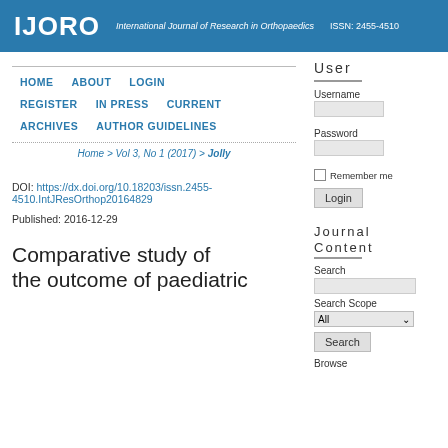IJORO  International Journal of Research in Orthopaedics  ISSN: 2455-4510
HOME
ABOUT
LOGIN
REGISTER
IN PRESS
CURRENT
ARCHIVES
AUTHOR GUIDELINES
Home > Vol 3, No 1 (2017) > Jolly
DOI: https://dx.doi.org/10.18203/issn.2455-4510.IntJResOrthop20164829
Published: 2016-12-29
Comparative study of the outcome of paediatric
User
Username
Password
Remember me
Login
Journal Content
Search
Search Scope
All
Search
Browse